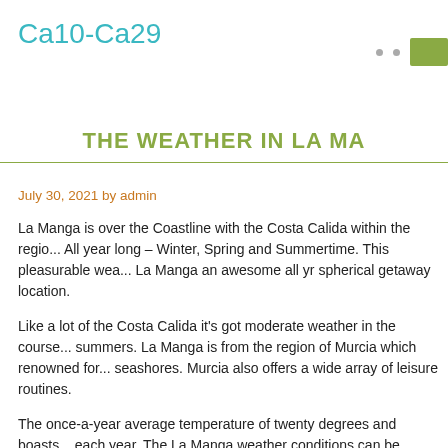Ca10-Ca29
THE WEATHER IN LA MA
July 30, 2021 by admin
La Manga is over the Coastline with the Costa Calida within the regio... All year long – Winter, Spring and Summertime. This pleasurable wea... La Manga an awesome all yr spherical getaway location.
Like a lot of the Costa Calida it's got moderate weather in the course... summers. La Manga is from the region of Murcia which renowned for... seashores. Murcia also offers a wide array of leisure routines.
The once-a-year average temperature of twenty degrees and boasts... each year. The La Manga weather conditions can be extremely scorc... months but which has a pleasant breeze from the Mediterranean caus... getaway desired destination through winter, spring and summertime.